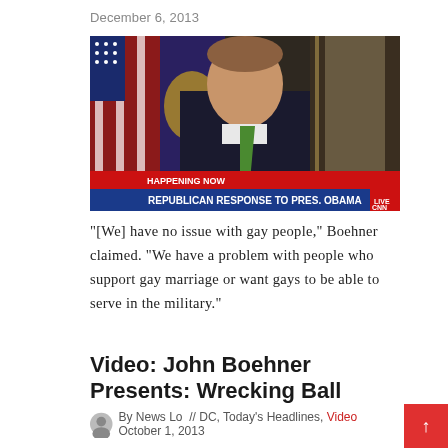December 6, 2013
[Figure (screenshot): CNN news screenshot showing a man in a dark suit with a green tie speaking, with American flags in the background. Lower-third text reads 'HAPPENING NOW' and 'REPUBLICAN RESPONSE TO PRES. OBAMA' with a 'LIVE CNN' bug.]
"[We] have no issue with gay people," Boehner claimed. "We have a problem with people who support gay marriage or want gays to be able to serve in the military."
Video: John Boehner Presents: Wrecking Ball
By News Lo  // DC, Today's Headlines, Video  October 1, 2013